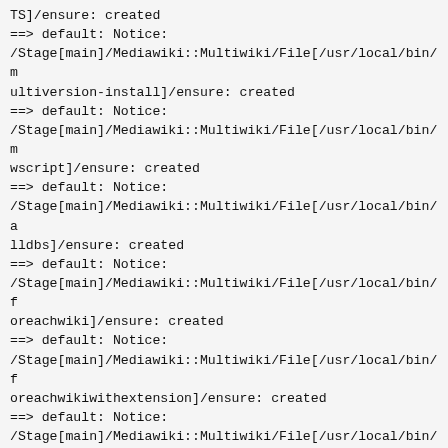TS]/ensure: created
==> default: Notice:
/Stage[main]/Mediawiki::Multiwiki/File[/usr/local/bin/multiversion-install]/ensure: created
==> default: Notice:
/Stage[main]/Mediawiki::Multiwiki/File[/usr/local/bin/mwscript]/ensure: created
==> default: Notice:
/Stage[main]/Mediawiki::Multiwiki/File[/usr/local/bin/alldbs]/ensure: created
==> default: Notice:
/Stage[main]/Mediawiki::Multiwiki/File[/usr/local/bin/foreachwiki]/ensure: created
==> default: Notice:
/Stage[main]/Mediawiki::Multiwiki/File[/usr/local/bin/foreachwikiwithextension]/ensure: created
==> default: Notice:
/Stage[main]/Mediawiki::Multiwiki/File[/usr/local/bin/wikihasextension]/ensure: created
==> default: Notice:
/Stage[main]/Mediawiki::Apache/File[/var/www/robots.txt]/ensure: defined content as '{md5}abe1c19ddc2b287ea9da1fc31584e439'
==> default: Notice:
/Stage[main]/Mediawiki::Mwrepl/File[/usr/local/bin/mwrepl]/ensure: defined content as '{md5}5a1414d4e63fab84656556835333285af'
==> default: Notice:
/Stage[main]/Mediawiki::Mwrepl/File[/usr/local/bin/hhvmsh]/ensure: created